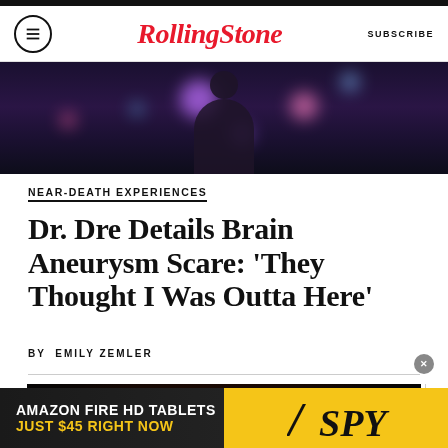Rolling Stone | SUBSCRIBE
[Figure (photo): Dark bokeh background photo from a concert/event with purple and pink bokeh lights]
NEAR-DEATH EXPERIENCES
Dr. Dre Details Brain Aneurysm Scare: ‘They Thought I Was Outta Here’
BY EMILY ZEMLER
[Figure (photo): Dr. Dre wearing sunglasses smiling at an event with dark background and red circular lights]
[Figure (other): Advertisement banner: AMAZON FIRE HD TABLETS JUST $45 RIGHT NOW with SPY logo]